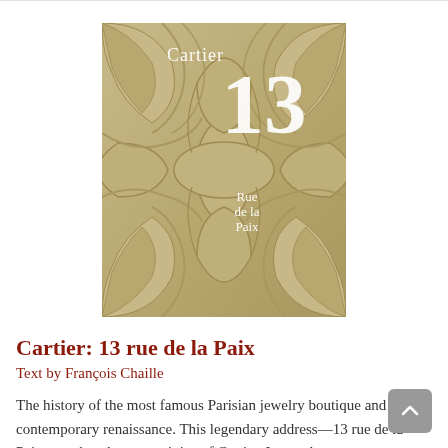[Figure (illustration): Book cover of 'Cartier: 13 rue de la Paix' showing an ornate Art Nouveau relief pattern in beige/tan tones with interlocking curved forms. White text reads 'Cartier' at top left and '13 Rue de la Paix' at top right.]
Cartier: 13 rue de la Paix
Text by François Chaille
The history of the most famous Parisian jewelry boutique and its contemporary renaissance. This legendary address—13 rue de la Paix—evokes the very origins of Cartier. It was the...